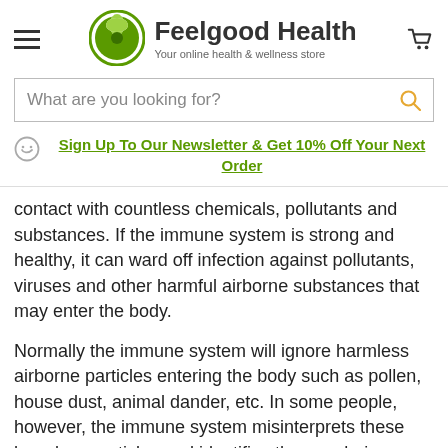[Figure (logo): Feelgood Health logo with green circular leaf icon and text 'Feelgood Health — Your online health & wellness store']
What are you looking for?
Sign Up To Our Newsletter & Get 10% Off Your Next Order
contact with countless chemicals, pollutants and substances. If the immune system is strong and healthy, it can ward off infection against pollutants, viruses and other harmful airborne substances that may enter the body.
Normally the immune system will ignore harmless airborne particles entering the body such as pollen, house dust, animal dander, etc. In some people, however, the immune system misinterprets these harmless particles and identifies them as being dangerous to the system. This